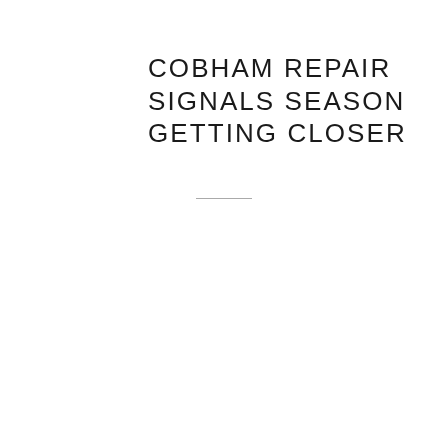COBHAM REPAIR SIGNALS SEASON GETTING CLOSER